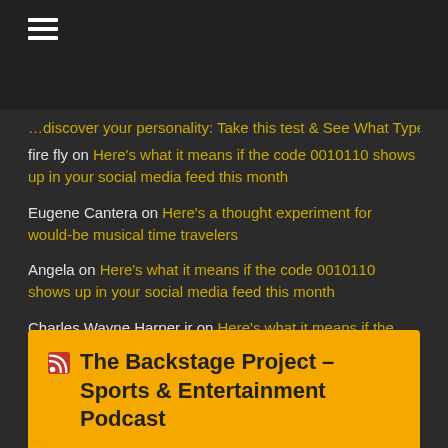☰ (hamburger menu)
…discover your personality: Take this test & See What Type you ha…
fire fly on Here's what it means if the code 0010110 shows up in your social media feed this month
Eugene Cantera on Here's a thought experiment for would-be musical time travelers
Angela on Here's what it means if the code 0010110 shows up in your social media feed this month
Charles Wayne Harper jr on Here's what it means if the code 0010110 shows up in your social media feed this month
The Backstage Project – Sports & Entertainment Podcast
…